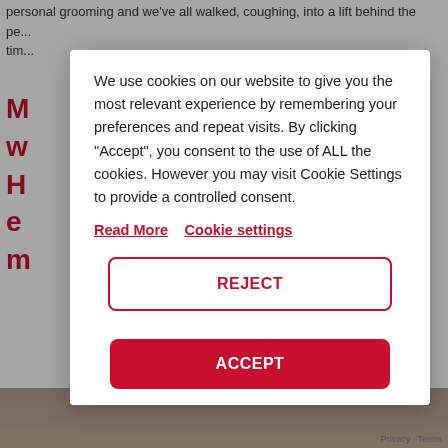personal grooming and we’ve all walked, coughing, into a lift behind the pe... tim...
M... w... H... e... m...
We use cookies on our website to give you the most relevant experience by remembering your preferences and repeat visits. By clicking “Accept”, you consent to the use of ALL the cookies. However you may visit Cookie Settings to provide a controlled consent.
Read More   Cookie settings
REJECT
ACCEPT
Privacy · Terms